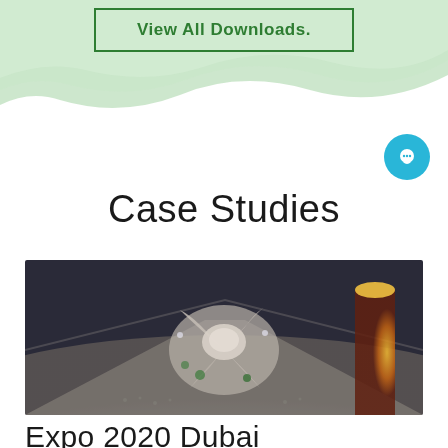[Figure (other): Green wave background SVG decoration at the top of the page]
View All Downloads.
Case Studies
[Figure (photo): Aerial architectural rendering of the Expo 2020 Dubai site showing futuristic spiral pavilion structures at night with illuminated surroundings]
Expo 2020 Dubai